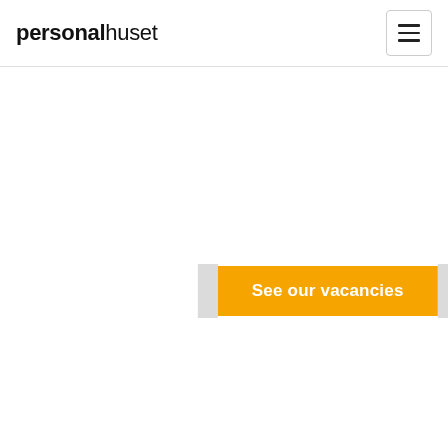personalhuset
[Figure (screenshot): Hamburger menu button (three horizontal lines) inside a rounded rectangle border]
See our vacancies